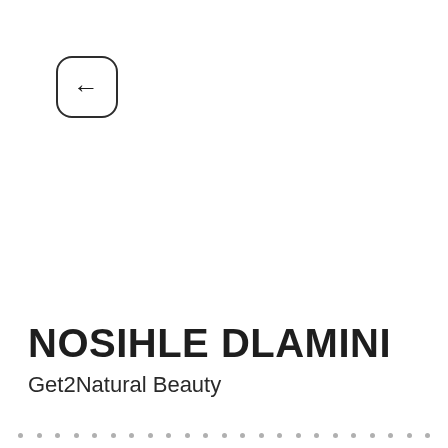[Figure (illustration): Back navigation button — rounded square outline with a left-pointing arrow inside]
NOSIHLE DLAMINI
Get2Natural Beauty
[Figure (other): Row of small grey dots across the bottom of the page]